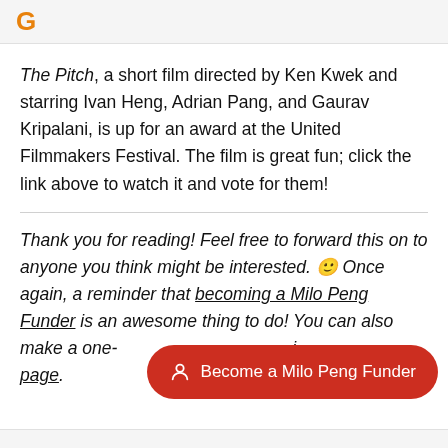The Pitch, a short film directed by Ken Kwek and starring Ivan Heng, Adrian Pang, and Gaurav Kripalani, is up for an award at the United Filmmakers Festival. The film is great fun; click the link above to watch it and vote for them!
Thank you for reading! Feel free to forward this on to anyone you think might be interested. 🙂 Once again, a reminder that becoming a Milo Peng Funder is an awesome thing to do! You can also make a one- page.